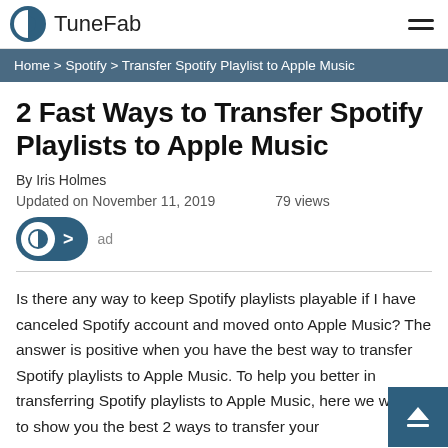TuneFab
Home > Spotify > Transfer Spotify Playlist to Apple Music
2 Fast Ways to Transfer Spotify Playlists to Apple Music
By Iris Holmes
Updated on November 11, 2019    79 views
Is there any way to keep Spotify playlists playable if I have canceled Spotify account and moved onto Apple Music? The answer is positive when you have the best way to transfer Spotify playlists to Apple Music. To help you better in transferring Spotify playlists to Apple Music, here we would like to show you the best 2 ways to transfer your